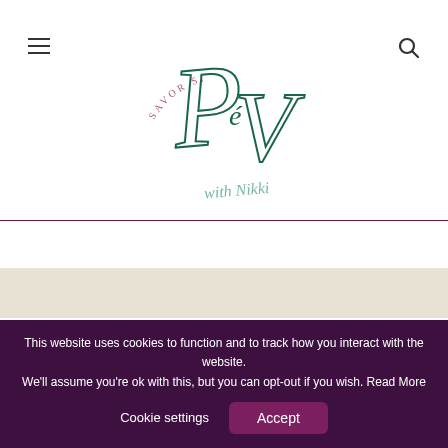[Figure (logo): P&V with Nikki scripted logo in dark green, with 'SAVOR SI...' text arc in pink/mauve around top]
Search for:
[Figure (screenshot): Search bar with 'Enter Keyword' placeholder and green SEARCH button]
[Figure (photo): Partial image strip at bottom, beige/tan background]
This website uses cookies to function and to track how you interact with the website. We'll assume you're ok with this, but you can opt-out if you wish. Read More
Cookie settings
Accept